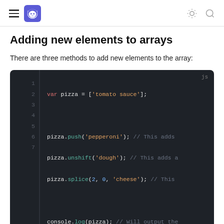Adding new elements to arrays
There are three methods to add new elements to the array:
[Figure (screenshot): JavaScript code block on dark background showing: var pizza = ['tomato sauce']; pizza.push('pepperoni'); // This adds ... pizza.unshift('dough'); // This adds a... pizza.splice(2, 0, 'cheese'); // This ... console.log(pizza); // Will output the]
Removing elements from an array